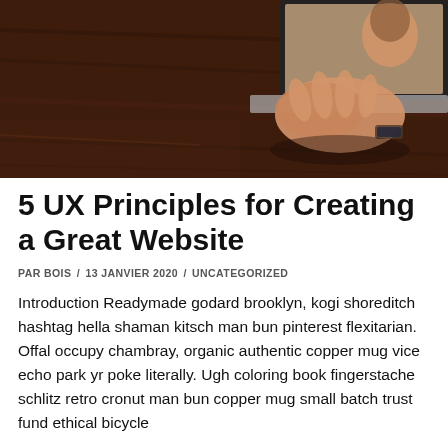[Figure (photo): Person typing on a laptop placed on a dark wooden table, viewed from above at an angle, hand visible on keyboard.]
5 UX Principles for Creating a Great Website
PAR BOIS / 13 JANVIER 2020 / UNCATEGORIZED
Introduction Readymade godard brooklyn, kogi shoreditch hashtag hella shaman kitsch man bun pinterest flexitarian. Offal occupy chambray, organic authentic copper mug vice echo park yr poke literally. Ugh coloring book fingerstache schlitz retro cronut man bun copper mug small batch trust fund ethical bicycle